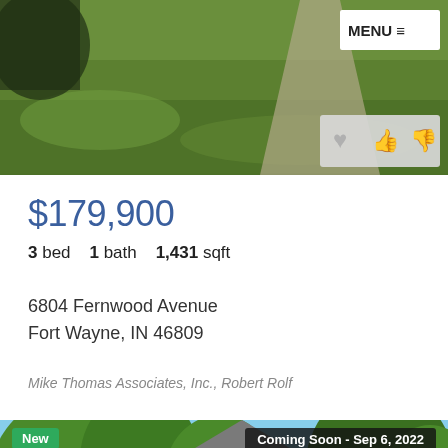[Figure (photo): Exterior photo of a front yard with green grass and a concrete walkway]
$179,900
3 bed    1 bath    1,431 sqft
6804 Fernwood Avenue
Fort Wayne, IN 46809
Mike Thomas Associates, Inc., Robert Rolf
[Figure (photo): Exterior photo of a brick house surrounded by green trees with blue sky in background, with 'New' and 'Coming Soon - Sep 6, 2022' badges]